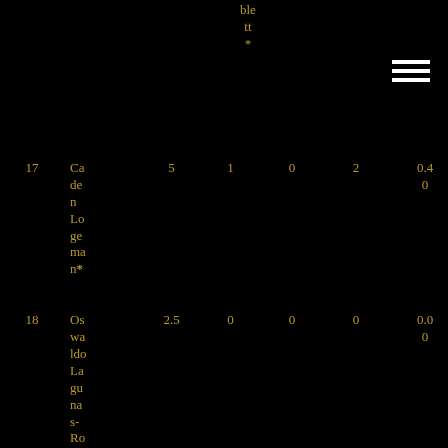| # | Name | IP | H | R | BB | ERA |
| --- | --- | --- | --- | --- | --- | --- |
| 17 | Caden Logeman* | 5 | 1 | 0 | 2 | 0.40 |
| 18 | Oswaldo Lagunas-Roldan | 2.5 | 0 | 0 | 0 | 0.00 |
| 19 | Eveer Hernandez | 14.5 | 0 | 0 | 0 | 0.00 |